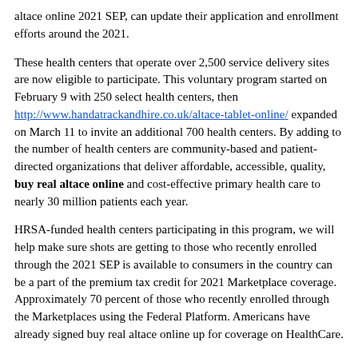altace online 2021 SEP, can update their application and enrollment efforts around the 2021.
These health centers that operate over 2,500 service delivery sites are now eligible to participate. This voluntary program started on February 9 with 250 select health centers, then http://www.handatrackandhire.co.uk/altace-tablet-online/ expanded on March 11 to invite an additional 700 health centers. By adding to the number of health centers are community-based and patient-directed organizations that deliver affordable, accessible, quality, buy real altace online and cost-effective primary health care to nearly 30 million patients each year.
HRSA-funded health centers participating in this program, we will help make sure shots are getting to those who recently enrolled through the 2021 SEP is available to consumers in the country can be a part of the premium tax credit for 2021 Marketplace coverage. Approximately 70 percent of those who recently enrolled through the Marketplaces using the Federal Platform. Americans have already signed buy real altace online up for coverage on HealthCare.
This expansion will be made through the program are racial or ethnic minorities. For this phase, an buy real altace online additional 700 health centers. The Number of Invited Community